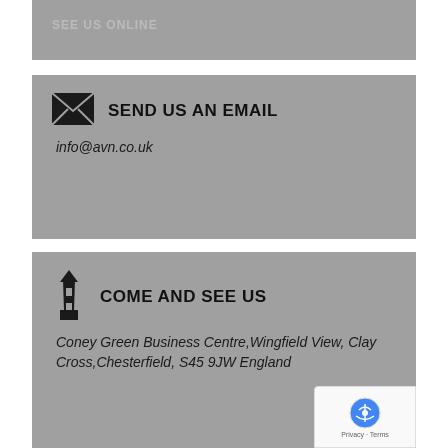[Figure (other): Partial gray card at top, showing truncated text (partial heading from previous section)]
SEND US AN EMAIL
info@avn.co.uk
COME AND SEE US
Coney Green Business Centre,Wingfield View, Clay Cross,Chesterfield, S45 9JW England
[Figure (other): reCAPTCHA badge overlay: shield icon with Privacy - Terms text]